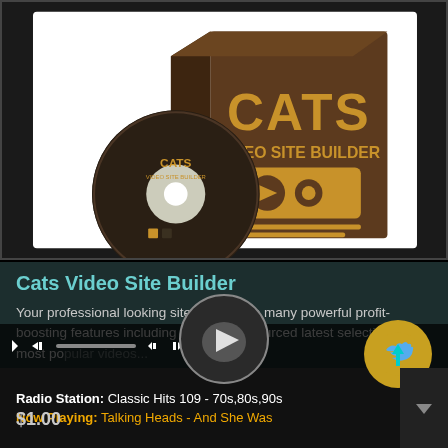[Figure (illustration): Product box and DVD disc for CATS Video Site Builder software, brown/gold coloring with play button and settings gear icons on the box]
Cats Video Site Builder
Your professional looking site will include many powerful profit-boosting features including 120 videos sourced latest selection of most popular videos...
Radio Station: Classic Hits 109 - 70s,80s,90s
Now Playing: Talking Heads - And She Was
$1.00